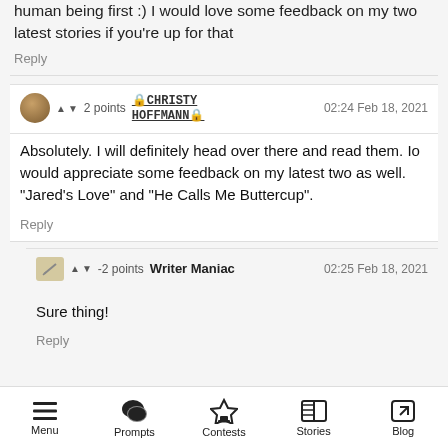human being first :) I would love some feedback on my two latest stories if you're up for that
Reply
▲ ▼ 2 points 🔒CHRISTY HOFFMANN🔒  02:24 Feb 18, 2021
Absolutely. I will definitely head over there and read them. Io would appreciate some feedback on my latest two as well. "Jared's Love" and "He Calls Me Buttercup".
Reply
▲ ▼ -2 points  Writer Maniac  02:25 Feb 18, 2021
Sure thing!
Reply
Menu  Prompts  Contests  Stories  Blog